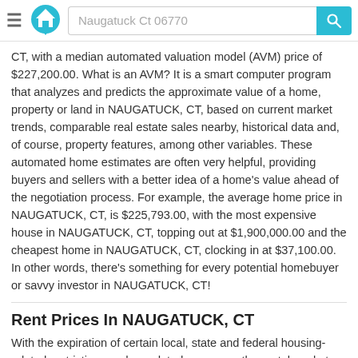Naugatuck Ct 06770
CT, with a median automated valuation model (AVM) price of $227,200.00. What is an AVM? It is a smart computer program that analyzes and predicts the approximate value of a home, property or land in NAUGATUCK, CT, based on current market trends, comparable real estate sales nearby, historical data and, of course, property features, among other variables. These automated home estimates are often very helpful, providing buyers and sellers with a better idea of a home's value ahead of the negotiation process. For example, the average home price in NAUGATUCK, CT, is $225,793.00, with the most expensive house in NAUGATUCK, CT, topping out at $1,900,000.00 and the cheapest home in NAUGATUCK, CT, clocking in at $37,100.00. In other words, there's something for every potential homebuyer or savvy investor in NAUGATUCK, CT!
Rent Prices In NAUGATUCK, CT
With the expiration of certain local, state and federal housing-related restrictions and mandated programs, the rental market